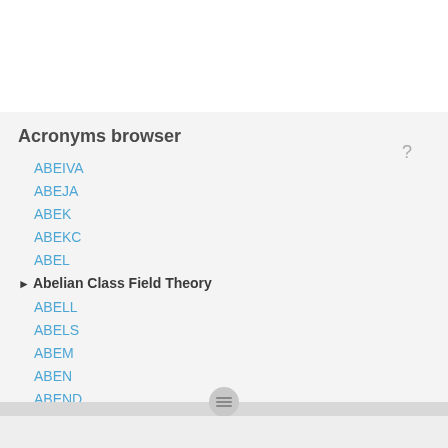Acronyms browser
ABEIVA
ABEJA
ABEK
ABEKC
ABEL
▶ Abelian Class Field Theory
ABELL
ABELS
ABEM
ABEN
ABEND
ABENG